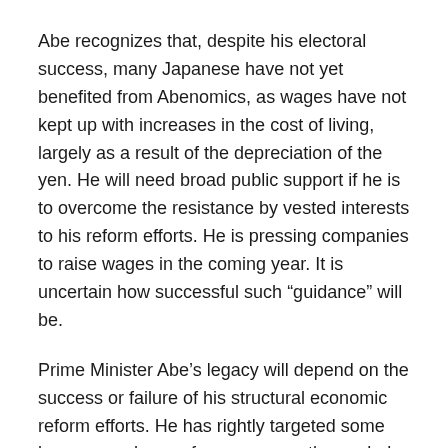Abe recognizes that, despite his electoral success, many Japanese have not yet benefited from Abenomics, as wages have not kept up with increases in the cost of living, largely as a result of the depreciation of the yen. He will need broad public support if he is to overcome the resistance by vested interests to his reform efforts. He is pressing companies to raise wages in the coming year. It is uncertain how successful such “guidance” will be.
Prime Minister Abe’s legacy will depend on the success or failure of his structural economic reform efforts. He has rightly targeted some key areas where reforms are greatly needed. Neither monetary nor fiscal stimulus, however aggressive, can assure a recovery in the Japanese economy that will be sustainable over the medium to long term. We remain bullish on the near-term prospects for Japanese equities hedged for expected additional depreciation of the yen versus the US dollar. The positives remain strong overseas earnings,